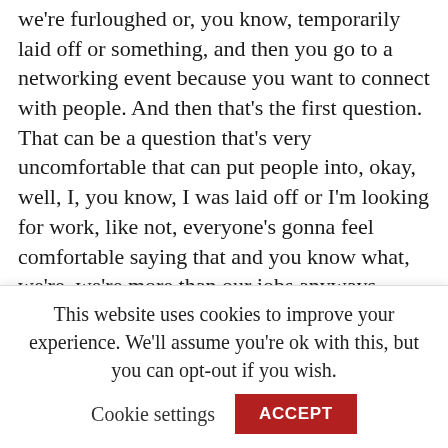we're furloughed or, you know, temporarily laid off or something, and then you go to a networking event because you want to connect with people. And then that's the first question. That can be a question that's very uncomfortable that can put people into, okay, well, I, you know, I was laid off or I'm looking for work, like not, everyone's gonna feel comfortable saying that and you know what, we're, we're more than our jobs anyways, right? Yeah. We're so much deeper than whatever title or what we're going to say. So I, I appreciate the perspective of like, you know, we don't always
This website uses cookies to improve your experience. We'll assume you're ok with this, but you can opt-out if you wish.
Cookie settings
ACCEPT